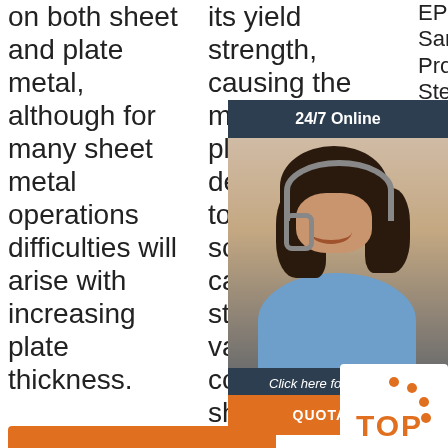on both sheet and plate metal, although for many sheet metal operations difficulties will arise with increasing plate thickness.
[Figure (other): Orange 'Get Price' button in column 1]
its yield strength, causing the material to plastically deform, but not to fail. By doing so, the sheet can be bent or stretched into a variety of complex shapes.
[Figure (other): Orange 'Get Price' button in column 2]
EPS/Rock Wool Sanwich Production Line, Steel Door Form Machine, PU S Door Mach Floo Roo Machine, Steel Glazed Tile Roofing Machine, Double Layer
[Figure (other): 24/7 Online chat widget with customer service representative photo, 'Click here for free chat!' text, and QUOTATION button]
[Figure (logo): TOP badge logo with orange dots and orange TOP text]